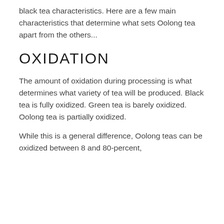black tea characteristics. Here are a few main characteristics that determine what sets Oolong tea apart from the others...
OXIDATION
The amount of oxidation during processing is what determines what variety of tea will be produced. Black tea is fully oxidized. Green tea is barely oxidized. Oolong tea is partially oxidized.
While this is a general difference, Oolong teas can be oxidized between 8 and 80-percent,
We use cookies to ensure that we give you the best experience on our website. If you continue to use this site we will assume that you are happy with it.
Ok  Privacy policy